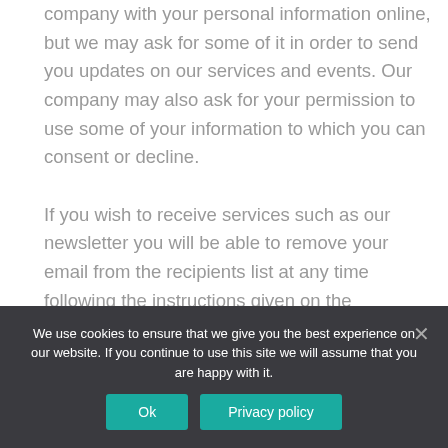company with your personal information online, but we may ask for some of it in order to send you updates on our services and events. Our company may also ask for your permission to use some of your information to which you can consent or decline.

If you wish to receive services such as our newsletter you will be able to remove your email from the recipients list at any time following the instructions given on the newsletter. If you decide
We use cookies to ensure that we give you the best experience on our website. If you continue to use this site we will assume that you are happy with it.